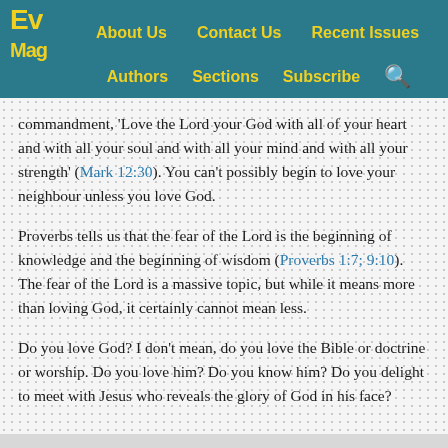Ev Mag | About Us | Contact Us | Recent Issues | Authors | Sections | Subscribe
commandment, 'Love the Lord your God with all of your heart and with all your soul and with all your mind and with all your strength' (Mark 12:30). You can't possibly begin to love your neighbour unless you love God.
Proverbs tells us that the fear of the Lord is the beginning of knowledge and the beginning of wisdom (Proverbs 1:7; 9:10). The fear of the Lord is a massive topic, but while it means more than loving God, it certainly cannot mean less.
Do you love God? I don't mean, do you love the Bible or doctrine or worship. Do you love him? Do you know him? Do you delight to meet with Jesus who reveals the glory of God in his face?